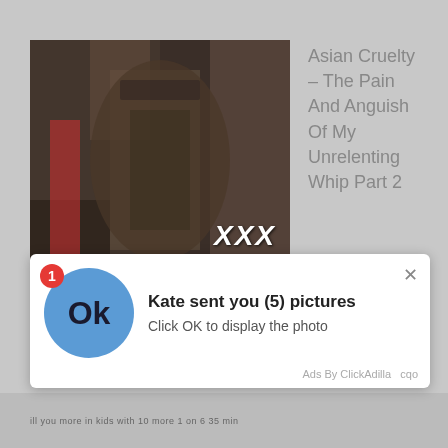[Figure (screenshot): A blurred/dark video thumbnail showing a person from behind with XXX text overlay in the bottom-right corner]
Asian Cruelty – The Pain And Anguish Of My Unrelenting Whip Part 2
[Figure (screenshot): A popup notification overlay showing a blue circle with 'Ok' text, a red badge with '1', title 'Kate sent you (5) pictures', subtitle 'Click OK to display the photo', close button X, and 'Ads By ClickAdilla cqo' footer]